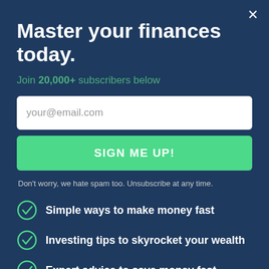Master your finances today.
Join 20,000+ subscribers below
your@email.com
SIGN ME UP!
Don't worry, we hate spam too. Unsubscribe at any time.
Simple ways to make money fast
Investing tips to skyrocket your wealth
Expert advice to save money fast
Marketing Costs
When starting any business you'll need to allocate some of your startup funds to grow your business through marketing. Below are